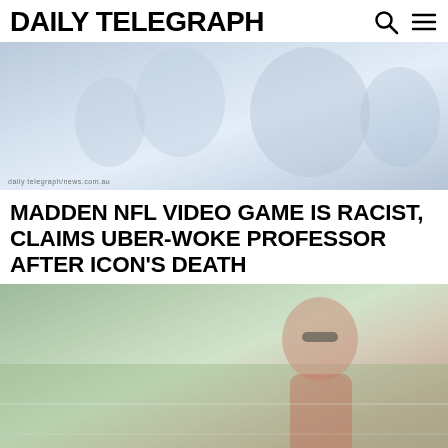DAILY TELEGRAPH
[Figure (photo): Faded photograph of people, possibly at a sports or public event, with a photo credit watermark at bottom left]
MADDEN NFL VIDEO GAME IS RACIST, CLAIMS UBER-WOKE PROFESSOR AFTER ICON'S DEATH
[Figure (photo): Faded photograph of a person wearing a red jacket and sunglasses, possibly a racing driver or sports figure, on a green background]